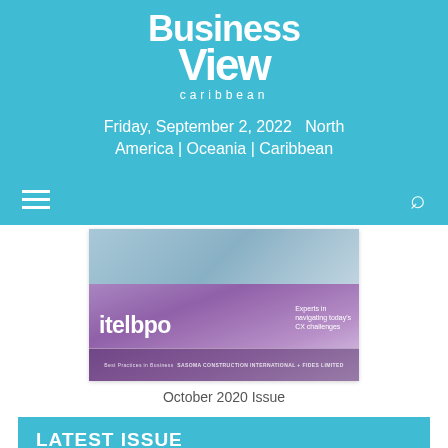Business View caribbean
Friday, September 2, 2022    North America | Oceania | Caribbean
[Figure (screenshot): Magazine cover for October 2020 Issue featuring itelbpo branding with purple gradient background and text 'Experts in navigating today's CX challenges' and 'SASOMA CONSTRUCTION INTERNATIONAL + FIDES LIMITED']
October 2020 Issue
LATEST ISSUE
[Figure (photo): Partial photo of a person at the bottom of the page]